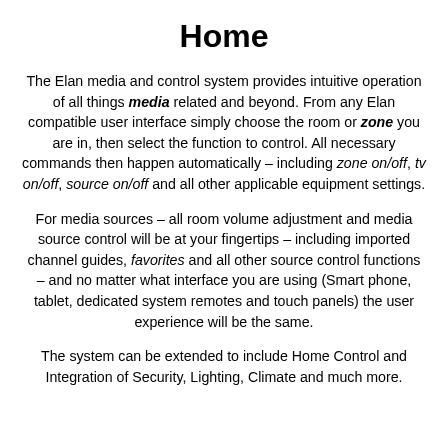Home
The Elan media and control system provides intuitive operation of all things media related and beyond. From any Elan compatible user interface simply choose the room or zone you are in, then select the function to control. All necessary commands then happen automatically – including zone on/off, tv on/off, source on/off and all other applicable equipment settings.
For media sources – all room volume adjustment and media source control will be at your fingertips – including imported channel guides, favorites and all other source control functions – and no matter what interface you are using (Smart phone, tablet, dedicated system remotes and touch panels) the user experience will be the same.
The system can be extended to include Home Control and Integration of Security, Lighting, Climate and much more.